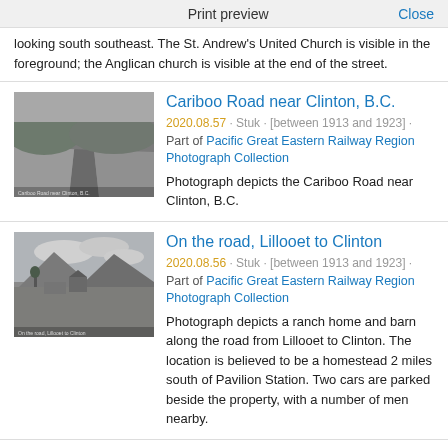Print preview   Close
looking south southeast. The St. Andrew's United Church is visible in the foreground; the Anglican church is visible at the end of the street.
Cariboo Road near Clinton, B.C.
2020.08.57 · Stuk · [between 1913 and 1923] · Part of Pacific Great Eastern Railway Region Photograph Collection
Photograph depicts the Cariboo Road near Clinton, B.C.
On the road, Lillooet to Clinton
2020.08.56 · Stuk · [between 1913 and 1923] · Part of Pacific Great Eastern Railway Region Photograph Collection
Photograph depicts a ranch home and barn along the road from Lillooet to Clinton. The location is believed to be a homestead 2 miles south of Pavilion Station. Two cars are parked beside the property, with a number of men nearby.